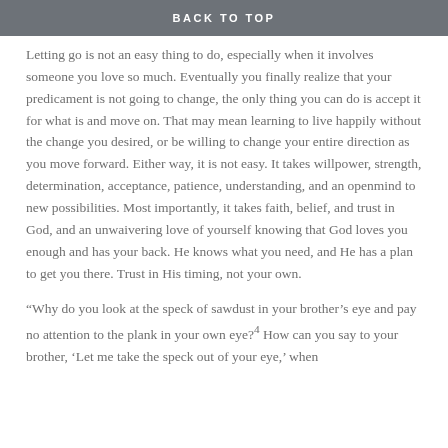BACK TO TOP
Letting go is not an easy thing to do, especially when it involves someone you love so much. Eventually you finally realize that your predicament is not going to change, the only thing you can do is accept it for what is and move on. That may mean learning to live happily without the change you desired, or be willing to change your entire direction as you move forward. Either way, it is not easy. It takes willpower, strength, determination, acceptance, patience, understanding, and an openmind to new possibilities. Most importantly, it takes faith, belief, and trust in God, and an unwaivering love of yourself knowing that God loves you enough and has your back. He knows what you need, and He has a plan to get you there. Trust in His timing, not your own.
“Why do you look at the speck of sawdust in your brother’s eye and pay no attention to the plank in your own eye?4 How can you say to your brother, ‘Let me take the speck out of your eye,’ when